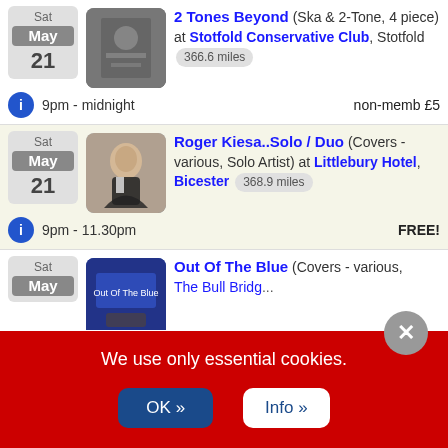Sat May 21 — 2 Tones Beyond (Ska & 2-Tone, 4 piece) at Stotfold Conservative Club, Stotfold 366.6 miles — 9pm - midnight — non-memb £5
Sat May 21 — Roger Kiesa..Solo / Duo (Covers - various, Solo Artist) at Littlebury Hotel, Bicester 368.9 miles — 9pm - 11.30pm — FREE!
Sat May — Out Of The Blue (Covers - various, ... The Bull ...
We use only essential cookies.